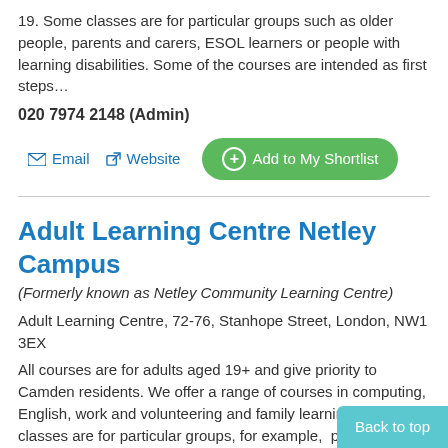19. Some classes are for particular groups such as older people, parents and carers, ESOL learners or people with learning disabilities. Some of the courses are intended as first steps…
020 7974 2148 (Admin)
Email   Website   Add to My Shortlist
Adult Learning Centre Netley Campus
(Formerly known as Netley Community Learning Centre)
Adult Learning Centre, 72-76, Stanhope Street, London, NW1 3EX
All courses are for adults aged 19+ and give priority to Camden residents. We offer a range of courses in computing, English, work and volunteering and family learning. Some classes are for particular groups, for example,  parents and carers. Some classes
Back to top